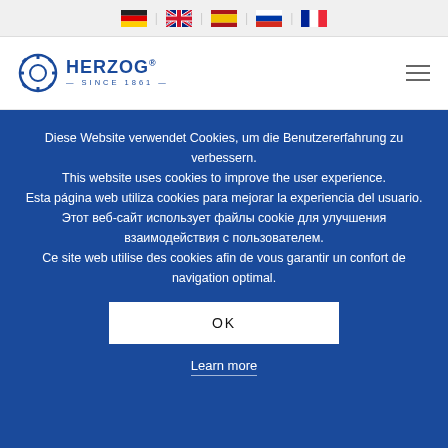[Flag icons: German, English, Spanish, Russian, French]
[Figure (logo): HERZOG logo with gear icon, text 'HERZOG SINCE 1861']
Diese Website verwendet Cookies, um die Benutzererfahrung zu verbessern.
This website uses cookies to improve the user experience.
Esta página web utiliza cookies para mejorar la experiencia del usuario.
Этот веб-сайт использует файлы cookie для улучшения взаимодействия с пользователем.
Ce site web utilise des cookies afin de vous garantir un confort de navigation optimal.
OK
Learn more